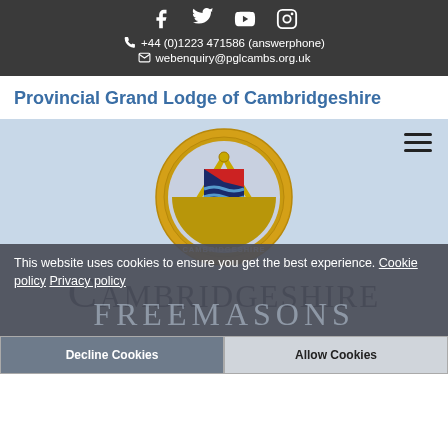Facebook Twitter YouTube Instagram | +44 (0)1223 471586 (answerphone) | webenquiry@pglcambs.org.uk
Provincial Grand Lodge of Cambridgeshire
[Figure (logo): Freemasons Provincial Grand Lodge of Cambridgeshire circular logo with gold compass and square, shield with blue waves and red element, text CAMBRIDGESHIRE at bottom]
CAMBRIDGESHIRE
FREEMASONS
This website uses cookies to ensure you get the best experience. Cookie policy Privacy policy
Decline Cookies | Allow Cookies